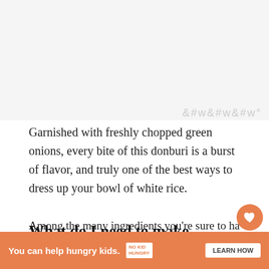[Figure (photo): Top image area (food photo, partially visible / cropped off at top of page)]
Garnished with freshly chopped green onions, every bite of this donburi is a burst of flavor, and truly one of the best ways to dress up your bowl of white rice.
What do I need to make Oyakodon?
Among the many ingredients you're sure to have...
[Figure (other): Advertisement banner: orange background with text 'You can help hungry kids.' No Kid Hungry logo and LEARN HOW button. Close X button top right of banner.]